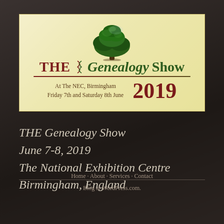[Figure (illustration): THE Genealogy Show banner/logo with a large green tree, DNA helix icon, dark red and green serif text reading 'THE Genealogy Show', decorative underline, and event details: At The NEC, Birmingham, Friday 7th and Saturday 8th June 2019]
THE Genealogy Show
June 7-8, 2019
The National Exhibition Centre
Birmingham, England
Home · About · Services · Contact
Blog at WordPress.com.